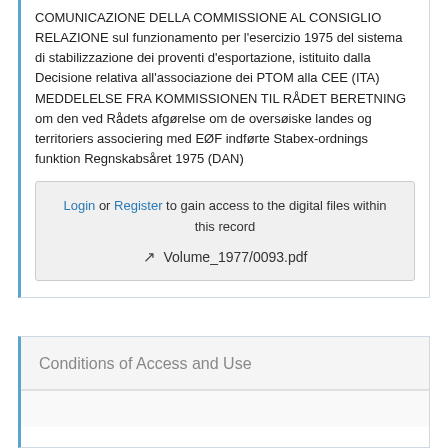COMUNICAZIONE DELLA COMMISSIONE AL CONSIGLIO RELAZIONE sul funzionamento per l'esercizio 1975 del sistema di stabilizzazione dei proventi d'esportazione, istituito dalla Decisione relativa all'associazione dei PTOM alla CEE (ITA) MEDDELELSE FRA KOMMISSIONEN TIL RÅDET BERETNING om den ved Rådets afgørelse om de oversøiske landes og territoriers associering med EØF indførte Stabex-ordnings funktion Regnskabsåret 1975 (DAN)
Login or Register to gain access to the digital files within this record
Volume_1977/0093.pdf
Conditions of Access and Use